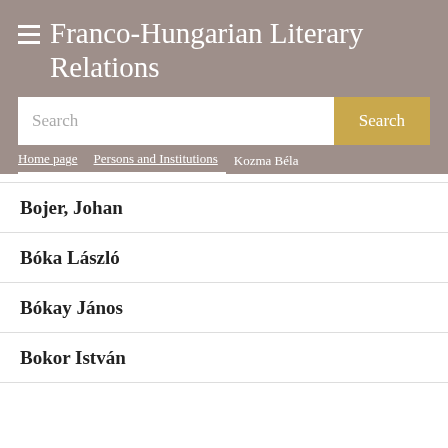Franco-Hungarian Literary Relations
Search
Home page / Persons and Institutions / Kozma Béla
Bojer, Johan
Bóka László
Bókay János
Bokor István